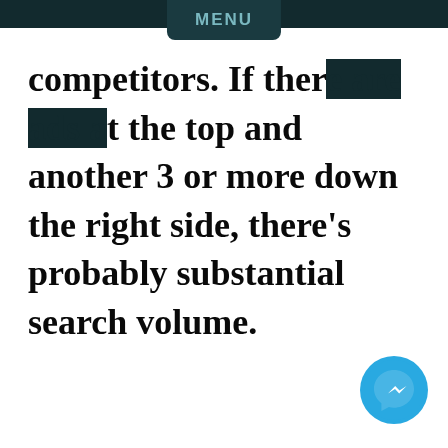MENU
competitors. If ther[e are ads a]t the top and another 3 or more down the right side, there's probably substantial search volume.
[Figure (illustration): Facebook Messenger chat button icon (blue circle with white lightning bolt messenger logo)]